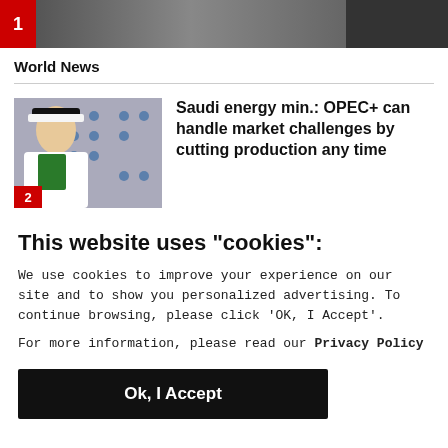[Figure (photo): Dark top bar with red number 1 badge and a news article thumbnail image]
World News
[Figure (photo): Thumbnail image of Saudi energy minister with OPEC+ branding. Red number 2 badge in bottom left.]
Saudi energy min.: OPEC+ can handle market challenges by cutting production any time
This website uses "cookies":
We use cookies to improve your experience on our site and to show you personalized advertising. To continue browsing, please click 'OK, I Accept'.
For more information, please read our Privacy Policy
Ok, I Accept